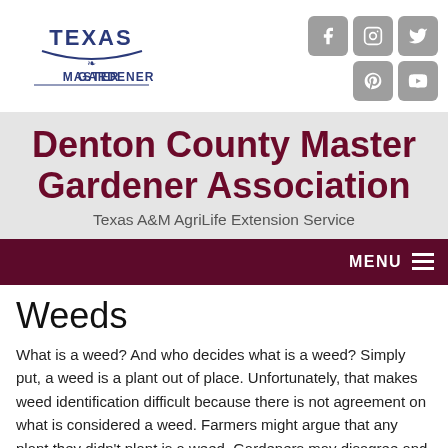[Figure (logo): Texas Master Gardener logo with decorative plant emblem]
[Figure (illustration): Social media icons: Facebook, Instagram, Twitter, Pinterest, YouTube — gray rounded square buttons]
Denton County Master Gardener Association
Texas A&M AgriLife Extension Service
MENU
Weeds
What is a weed?  And who decides what is a weed?  Simply put, a weed is a plant out of place.  Unfortunately, that makes weed identification difficult because there is not agreement on what is considered a weed.  Farmers might argue that any plant they didn't plant is a weed.  Gardeners may disagree and enjoy the looks of bird-planted pokeweed with its bright purple berries, or the lovely pale pink blossoms of evening primrose.  On the